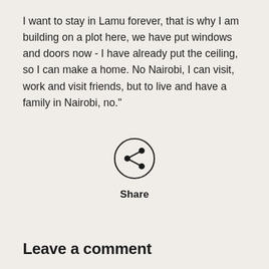I want to stay in Lamu forever, that is why I am building on a plot here, we have put windows and doors now - I have already put the ceiling, so I can make a home. No Nairobi, I can visit, work and visit friends, but to live and have a family in Nairobi, no."
[Figure (other): A circular share button icon with a share/network symbol inside]
Share
Leave a comment